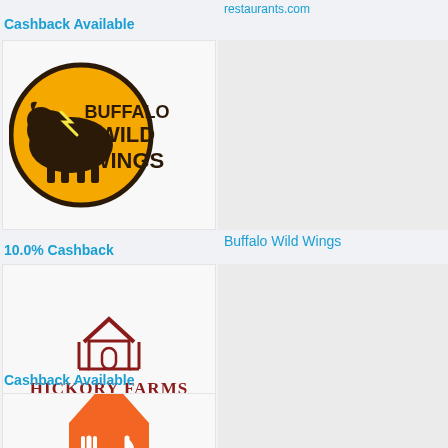restaurants.com
Cashback Available
[Figure (logo): Buffalo Wild Wings logo — circular yellow badge with buffalo and lightning bolt, text BUFFALO WILD WINGS]
Buffalo Wild Wings
10.0% Cashback
[Figure (logo): Hickory Farms logo — dark red barn/house icon above text HICKORY FARMS with trademark symbol]
Hickory Farms
Cashback Available
[Figure (logo): GrubHub logo — orange house shape with fork and knife utensils inside]